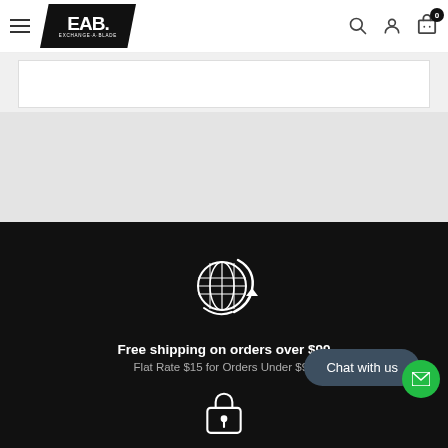[Figure (screenshot): EAB Exchange-A-Blade website header with logo, hamburger menu, search icon, account icon, and cart icon with badge showing 0]
Free shipping on orders over $99
Flat Rate $15 for Orders Under $99
Chat with us